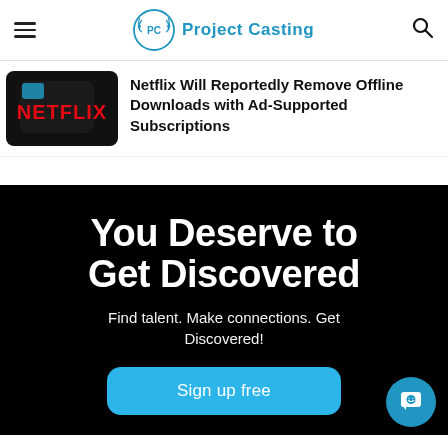Project Casting
Netflix Will Reportedly Remove Offline Downloads with Ad-Supported Subscriptions
[Figure (photo): Netflix logo on a dark background with a blue icon]
You Deserve to Get Discovered
Find talent. Make connections. Get Discovered!
Sign up free